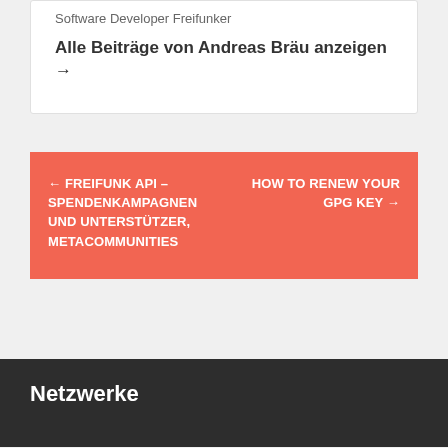Software Developer Freifunker
Alle Beiträge von Andreas Bräu anzeigen →
← FREIFUNK API – SPENDENKAMPAGNEN UND UNTERSTÜTZER, METACOMMUNITIES
HOW TO RENEW YOUR GPG KEY →
Netzwerke